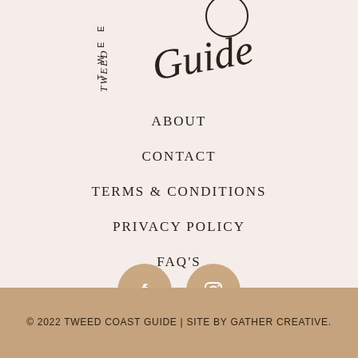[Figure (logo): Tweed Coast Guide logo — partial script lettering visible at top]
ABOUT
CONTACT
TERMS & CONDITIONS
PRIVACY POLICY
FAQ'S
[Figure (illustration): Two tan/beige circular social media icon buttons: Facebook (f) and Instagram (camera icon)]
© 2022 TWEED COAST GUIDE | SITE BY GATHER CREATIVE.